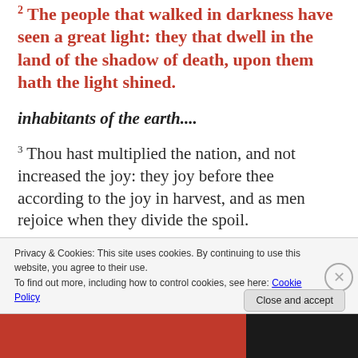2 The people that walked in darkness have seen a great light: they that dwell in the land of the shadow of death, upon them hath the light shined.
inhabitants of the earth....
3 Thou hast multiplied the nation, and not increased the joy: they joy before thee according to the joy in harvest, and as men rejoice when they divide the spoil.
4 ...
Privacy & Cookies: This site uses cookies. By continuing to use this website, you agree to their use. To find out more, including how to control cookies, see here: Cookie Policy
Close and accept